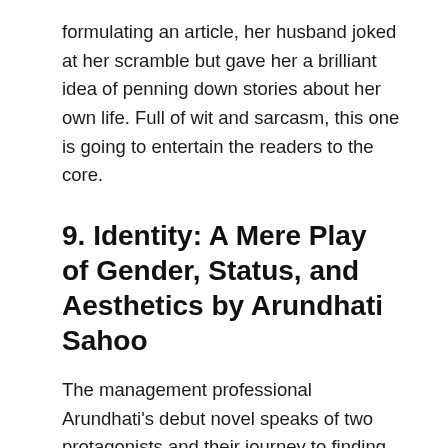formulating an article, her husband joked at her scramble but gave her a brilliant idea of penning down stories about her own life. Full of wit and sarcasm, this one is going to entertain the readers to the core.
9. Identity: A Mere Play of Gender, Status, and Aesthetics by Arundhati Sahoo
The management professional Arundhati's debut novel speaks of two protagonists and their journey to finding out who they really are and what they want to do. One being a eunuch who gets barred from the language and society due to gender, the other being a prostitute who is barred from her